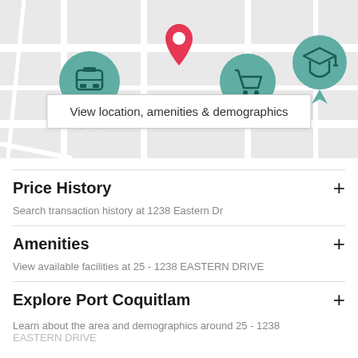[Figure (map): Street map with location pins for transit, shopping cart, and education, plus a red location marker in the center]
View location, amenities & demographics
Price History
Search transaction history at 1238 Eastern Dr
Amenities
View available facilities at 25 - 1238 EASTERN DRIVE
Explore Port Coquitlam
Learn about the area and demographics around 25 - 1238 EASTERN DRIVE